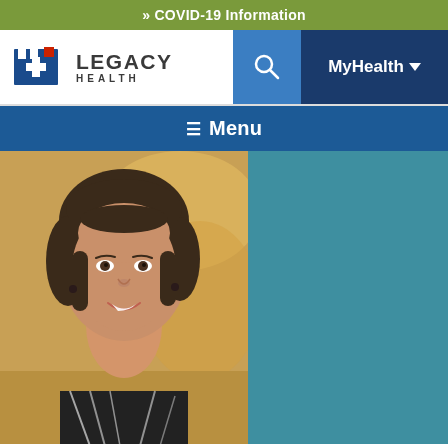» COVID-19 Information
[Figure (logo): Legacy Health logo with blue hospital icon and text 'LEGACY HEALTH']
[Figure (photo): Professional headshot of a woman with short dark hair, smiling, wearing a black and white patterned top]
Menu